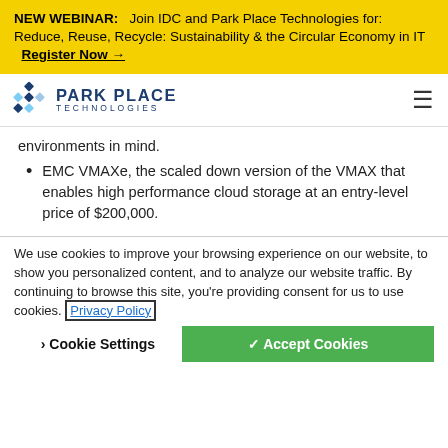NEW WEBINAR: Join IDC and Park Place Technologies for: Reduce, Reuse, Recycle: Sustainability & the Circular Economy in IT  Register Now →
[Figure (logo): Park Place Technologies logo with diamond icon and hamburger menu icon]
environments in mind.
EMC VMAXe, the scaled down version of the VMAX that enables high performance cloud storage at an entry-level price of $200,000.
We use cookies to improve your browsing experience on our website, to show you personalized content, and to analyze our website traffic. By continuing to browse this site, you're providing consent for us to use cookies. Privacy Policy